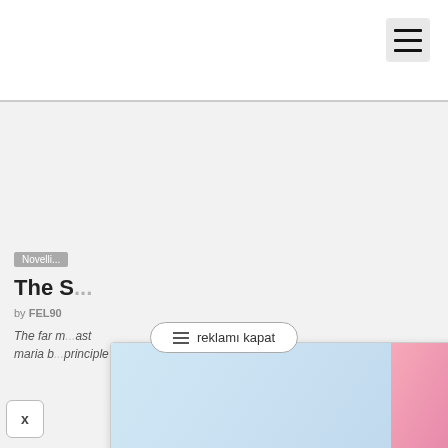Navigation bar with hamburger menu
≡ reklamı kapat
[Figure (photo): Ad overlay showing a woman with headset smiling on the left side, and on the right side a pink/purple gradient background with text 'MEET WITH LOCAL SINGLES' and clover app logo. Ad has ? and X close buttons in top right corner.]
Novelli...
The S...
by FEL90
The far m...ast
maria b...principle
x